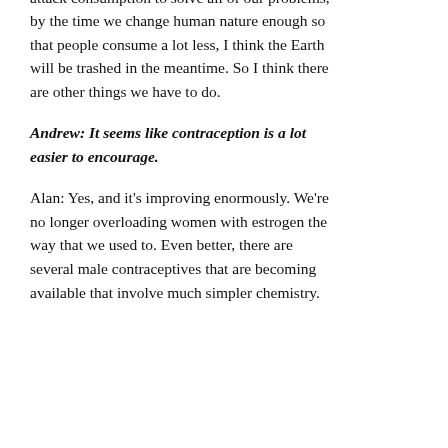learn to consume less. But frankly, if we try to attack consumption to solve all of our problems, by the time we change human nature enough so that people consume a lot less, I think the Earth will be trashed in the meantime. So I think there are other things we have to do.
Andrew: It seems like contraception is a lot easier to encourage.
Alan: Yes, and it's improving enormously. We're no longer overloading women with estrogen the way that we used to. Even better, there are several male contraceptives that are becoming available that involve much simpler chemistry.